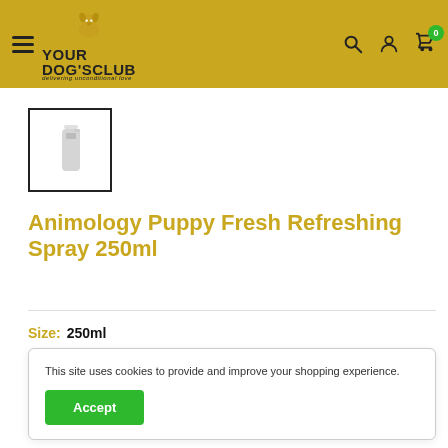Your Dog's Club — delivering unconditional love — navigation header with search, account, and cart (0) icons
[Figure (photo): Small product thumbnail image of Animology Puppy Fresh Refreshing Spray 250ml bottle, white spray bottle on white background inside a black-bordered box]
Animology Puppy Fresh Refreshing Spray 250ml
Size: 250ml
This site uses cookies to provide and improve your shopping experience.